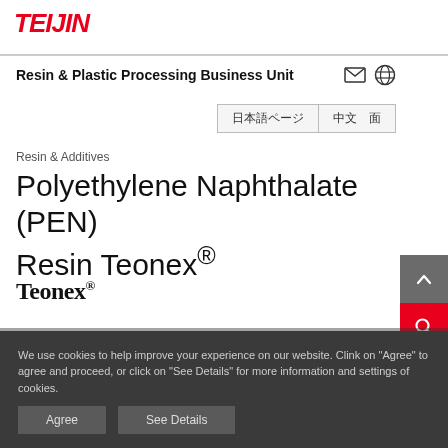TEIJIN
Resin & Plastic Processing Business Unit
日本語ページ　中文　面
Resin & Additives
Polyethylene Naphthalate (PEN) Resin Teonex®
[Figure (logo): Teonex brand logo in bold serif font]
Introduction and Features
We use cookies to help improve your experience on our website. Clink on "Agree" to agree and proceed, or click on "See Details" for more information and settings of cookies.
Agree    See Details